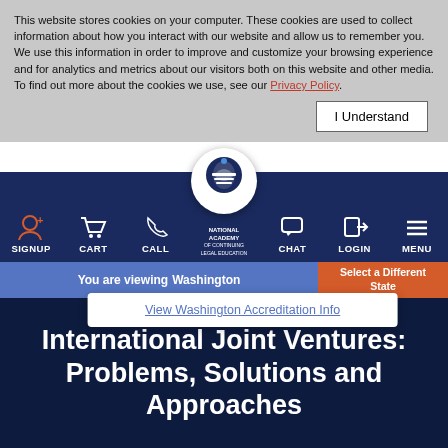This website stores cookies on your computer. These cookies are used to collect information about how you interact with our website and allow us to remember you. We use this information in order to improve and customize your browsing experience and for analytics and metrics about our visitors both on this website and other media. To find out more about the cookies we use, see our Privacy Policy.
[Figure (screenshot): Navigation bar with icons: SIGNUP, CART, CALL, National Academy of Continuing Legal Education logo (center), CHAT, LOGIN, MENU]
You are viewing Washington
Select a Different State
View Washington Accreditation Info
International Joint Ventures: Problems, Solutions and Approaches